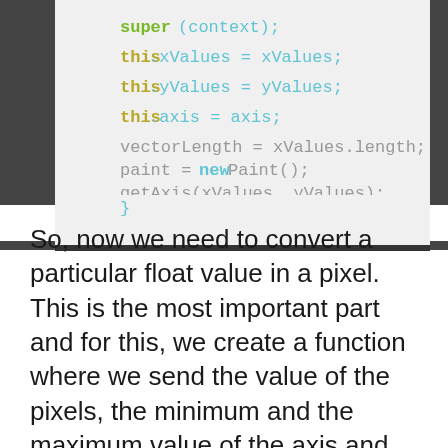[Figure (screenshot): Code screenshot showing Java/Android constructor body with syntax highlighting: super(context); this.xValues = xValues; this.yValues = yValues; this.axis = axis; vectorLength = xValues.length; paint = new Paint(); getAxis(xValues, yValues); closing brace }]
So, now we need to convert a particular float value in a pixel. This is the most important part and for this, we create a function where we send the value of the pixels, the minimum and the maximum value of the axis and array of float values. We get an array of converted pixel values in return. p[i] = 1 * pixels * ((value[i] - min)